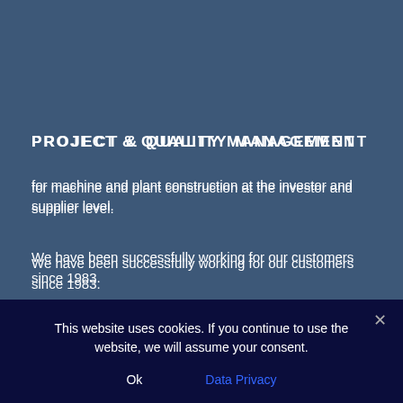PROJECT & QUALITY MANAGEMENT
for machine and plant construction at the investor and supplier level.
We have been successfully working for our customers since 1983.
OFFICE HOURS
Monday till Thursday
09.00 Uhr - 12:30 a.m.
13.00 Uhr - 16:00 p.m.
Friday
09.00 Uhr - 12:30 a.m.
and by appointment
you reach us personally.
This website uses cookies. If you continue to use the website, we will assume your consent.
Ok
Data Privacy